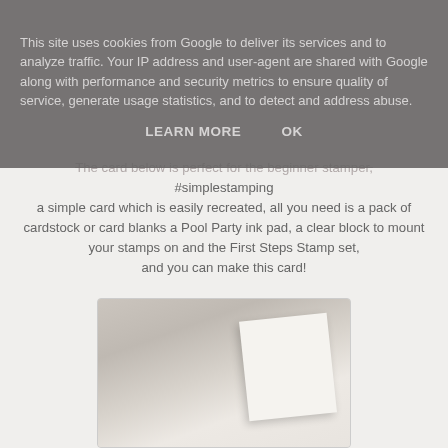This site uses cookies from Google to deliver its services and to analyze traffic. Your IP address and user-agent are shared with Google along with performance and security metrics to ensure quality of service, generate usage statistics, and to detect and address abuse.
LEARN MORE    OK
The card below is perfect for the beginner stamper, #simplestamping a simple card which is easily recreated, all you need is a pack of cardstock or card blanks a Pool Party ink pad, a clear block to mount your stamps on and the First Steps Stamp set, and you can make this card!
[Figure (photo): A photo showing a white card or card blank at an angle on a wooden surface, slightly blurred background]